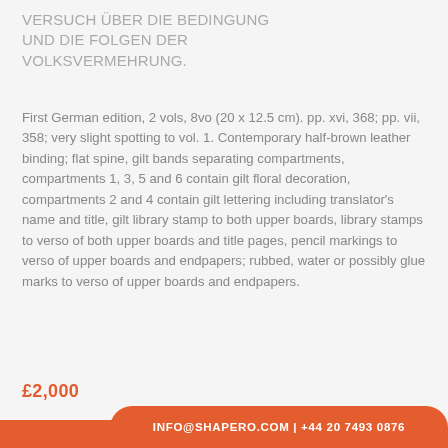VERSUCH ÜBER DIE BEDINGUNG UND DIE FOLGEN DER VOLKSVERMEHRUNG.
First German edition, 2 vols, 8vo (20 x 12.5 cm). pp. xvi, 368; pp. vii, 358; very slight spotting to vol. 1. Contemporary half-brown leather binding; flat spine, gilt bands separating compartments, compartments 1, 3, 5 and 6 contain gilt floral decoration, compartments 2 and 4 contain gilt lettering including translator's name and title, gilt library stamp to both upper boards, library stamps to verso of both upper boards and title pages, pencil markings to verso of upper boards and endpapers; rubbed, water or possibly glue marks to verso of upper boards and endpapers.
£2,000
INFO@SHAPERO.COM | +44 20 7493 0876